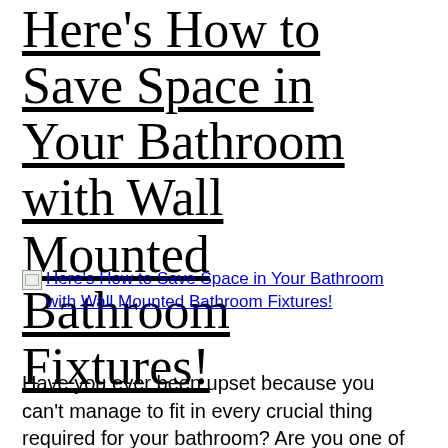Here's How to Save Space in Your Bathroom with Wall Mounted Bathroom Fixtures!
[Figure (photo): Broken image placeholder with alt text: Here's How to Save Space in Your Bathroom with Wall Mounted Bathroom Fixtures!]
Have you ever been upset because you can't manage to fit in every crucial thing required for your bathroom? Are you one of the numerous